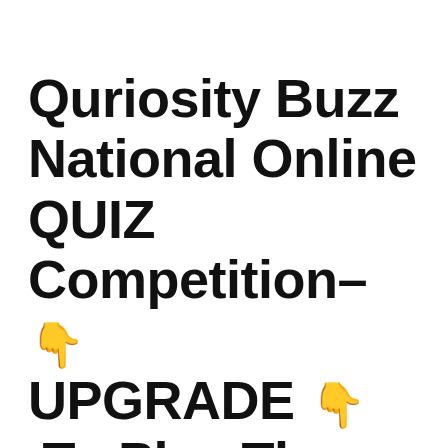Quriosity Buzz National Online QUIZ Competition– 👇 UPGRADE 👇 To Play The Final Round